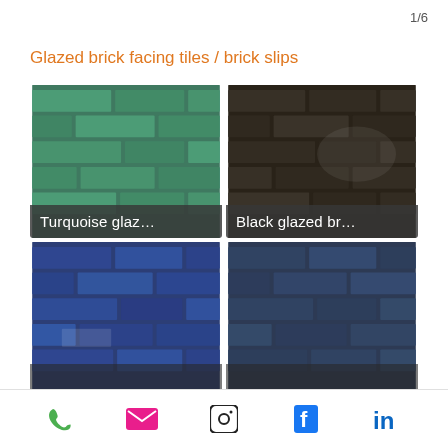1/6
Glazed brick facing tiles / brick slips
[Figure (photo): Four product tiles showing glazed brick/brick slips: Turquoise glazed (top-left), Black glazed br... (top-right), Blue glazed (bottom-left), Dark blue glazed (bottom-right)]
Phone | Email | Instagram | Facebook | LinkedIn icons